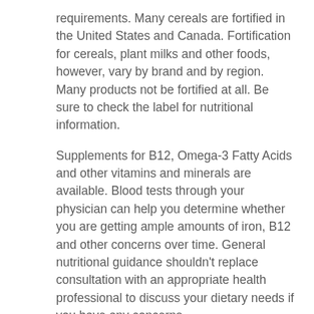requirements. Many cereals are fortified in the United States and Canada. Fortification for cereals, plant milks and other foods, however, vary by brand and by region. Many products not be fortified at all. Be sure to check the label for nutritional information.
Supplements for B12, Omega-3 Fatty Acids and other vitamins and minerals are available. Blood tests through your physician can help you determine whether you are getting ample amounts of iron, B12 and other concerns over time. General nutritional guidance shouldn’t replace consultation with an appropriate health professional to discuss your dietary needs if you have any concerns.
1. See http://www.mayoclinic.org/healthy-living/nutrition-and-healthy-eating/in-depth/vegetarian-diet/art-20046446?pg=2
2. See http://ods.od.nih.gov/factsheets/calcium#h2